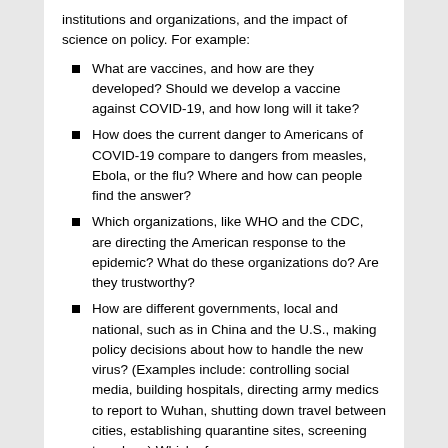institutions and organizations, and the impact of science on policy. For example:
What are vaccines, and how are they developed? Should we develop a vaccine against COVID-19, and how long will it take?
How does the current danger to Americans of COVID-19 compare to dangers from measles, Ebola, or the flu? Where and how can people find the answer?
Which organizations, like WHO and the CDC, are directing the American response to the epidemic? What do these organizations do? Are they trustworthy?
How are different governments, local and national, such as in China and the U.S., making policy decisions about how to handle the new virus? (Examples include: controlling social media, building hospitals, directing army medics to report to Wuhan, shutting down travel between cities, establishing quarantine sites, screening travelers.) Which of